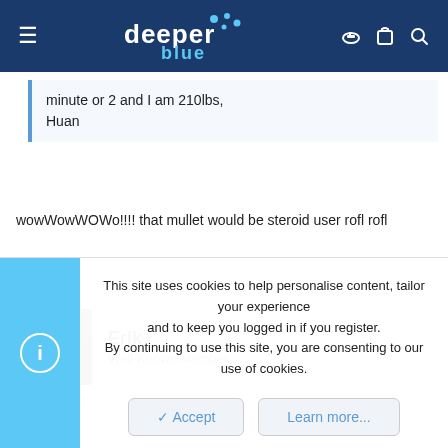deeper blue
minute or 2 and I am 210lbs,
Huan
wowWowWOWo!!!! that mullet would be steroid user rofl rofl
Erik
Well-Known Member
Oct 6, 2004
This site uses cookies to help personalise content, tailor your experience and to keep you logged in if you register.
By continuing to use this site, you are consenting to our use of cookies.